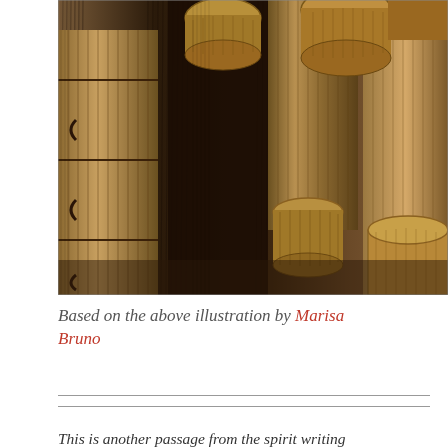[Figure (illustration): A detailed pencil or charcoal illustration depicting large wooden barrels and baskets in a dimly lit storage or cellar setting. The scene is rendered with heavy vertical hatching lines creating a dark, textured atmosphere. Various wicker baskets and cylindrical wooden containers of different sizes are arranged in the space.]
Based on the above illustration by Marisa Bruno
This is another passage from the spirit writing